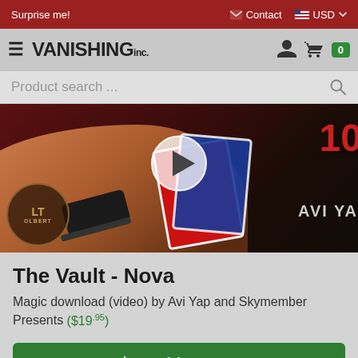Surprise me! | Contact | USD
VANISHING inc. — navigation bar with hamburger menu, user icon, cart icon with badge 0
Product search ...
[Figure (photo): Product video thumbnail showing a hand holding playing cards (Bicycle deck, blue and red), with a play button overlay, partial text reading NOVA and AVI YA (Avi Yap), and a branded stamp/seal on the left. Dark brown/maroon background.]
The Vault - Nova
Magic download (video) by Avi Yap and Skymember Presents ($19.95)
Add to cart